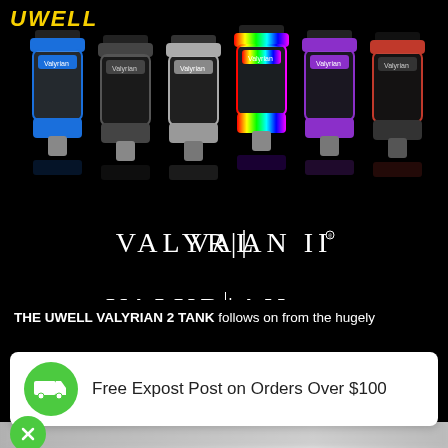[Figure (photo): Product photo of six Uwell Valyrian II tanks in different colors (blue, gunmetal, silver, rainbow, purple, red/black) arranged on a black background with the VALYRIAN II logo text below. UWELL logo in yellow italic at top left.]
THE UWELL VALYRIAN 2 TANK follows on from the hugely
Free Expost Post on Orders Over $100
[Figure (photo): Blurred product image at bottom of page with a green X close button in the lower left corner.]